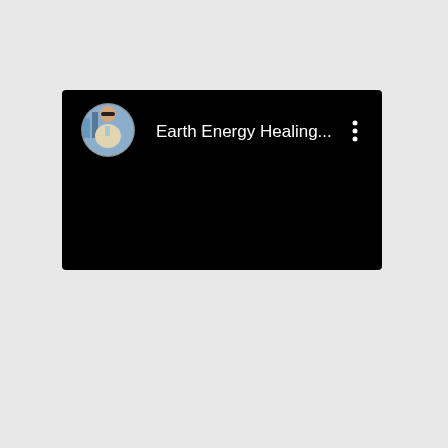BEN LOVEGROVE'S ENERGY NETWORK HEALING.
[Figure (screenshot): A video player interface showing a black background with a circular avatar photo of a man wearing sunglasses and a beige jacket, followed by the text 'Earth Energy Healing...' and a three-dot menu icon on a dark/black background.]